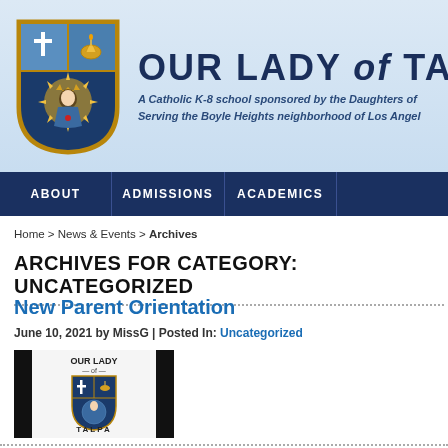[Figure (logo): Our Lady of Talpa school shield/crest logo with religious imagery, cross, lamp, and crowned figure with halo]
OUR LADY of TAL
A Catholic K-8 school sponsored by the Daughters of Serving the Boyle Heights neighborhood of Los Angel
ABOUT | ADMISSIONS | ACADEMICS
Home > News & Events > Archives
ARCHIVES FOR CATEGORY: UNCATEGORIZED
New Parent Orientation
June 10, 2021 by MissG | Posted In: Uncategorized
[Figure (logo): Our Lady of Talpa school crest thumbnail with black side bars]